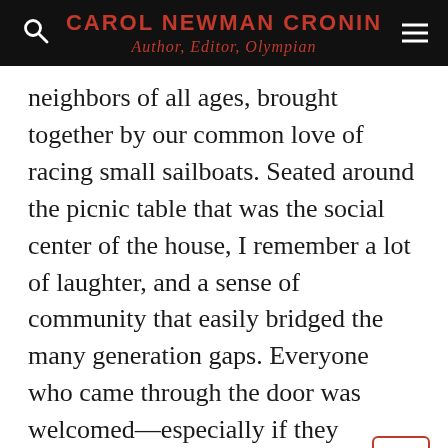CAROL NEWMAN CRONIN — Author, Editor, Olympian
neighbors of all ages, brought together by our common love of racing small sailboats. Seated around the picnic table that was the social center of the house, I remember a lot of laughter, and a sense of community that easily bridged the many generation gaps. Everyone who came through the door was welcomed—especially if they brought a story to share.